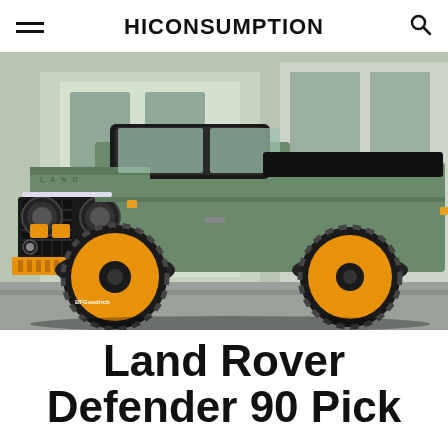HICONSUMPTION
[Figure (photo): Custom Land Rover Defender 90 pickup truck in olive/sage green with bright orange wheels and front bumper skid plate accents, photographed in front of a building. The vehicle features large off-road tires, round headlights, a mesh grille, and a modified pickup truck bed.]
Land Rover Defender 90 Pick